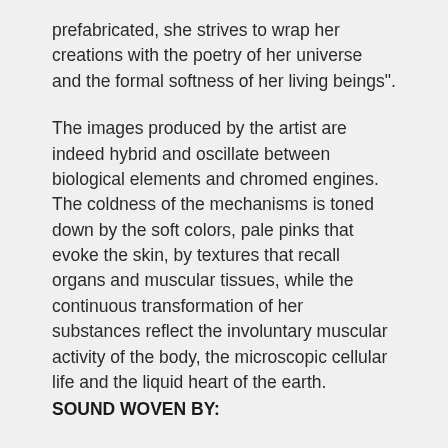prefabricated, she strives to wrap her creations with the poetry of her universe and the formal softness of her living beings".
The images produced by the artist are indeed hybrid and oscillate between biological elements and chromed engines. The coldness of the mechanisms is toned down by the soft colors, pale pinks that evoke the skin, by textures that recall organs and muscular tissues, while the continuous transformation of her substances reflect the involuntary muscular activity of the body, the microscopic cellular life and the liquid heart of the earth.
SOUND WOVEN BY: